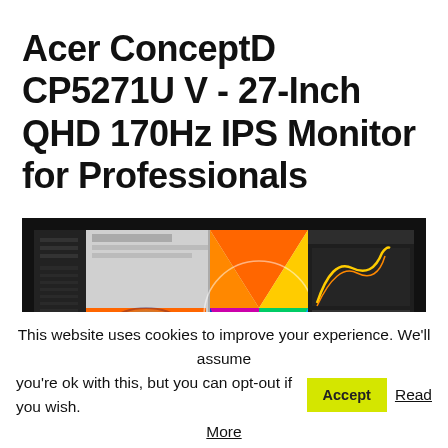Acer ConceptD CP5271U V - 27-Inch QHD 170Hz IPS Monitor for Professionals
[Figure (photo): Acer ConceptD CP5271U V monitor displaying graphic design software with colorful artwork on screen, shown in a dark background setting.]
This website uses cookies to improve your experience. We'll assume you're ok with this, but you can opt-out if you wish. Accept Read More